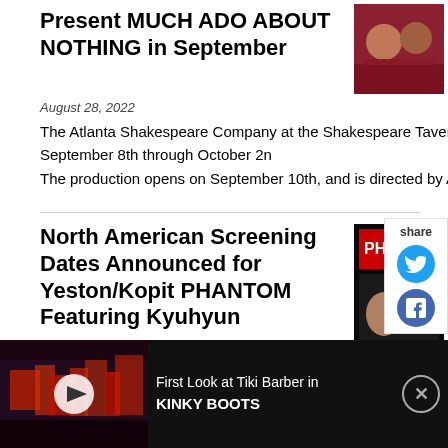Present MUCH ADO ABOUT NOTHING in September
August 28, 2022
The Atlanta Shakespeare Company at the Shakespeare Tavern Playhouse will present Much Ado About Nothing from September 8th through October 2... The production opens on September 10th, and is directed by Andrew Hou...
North American Screening Dates Announced for Yeston/Kopit PHANTOM Featuring Kyuhyun
August 27, 2022
Cities, venues, and release dates for the North American cinema presentation
[Figure (photo): Theatre advertisement banner: First Look at Tiki Barber in KINKY BOOTS, with video thumbnail showing stage scene with red set pieces]
First Look at Tiki Barber in KINKY BOOTS